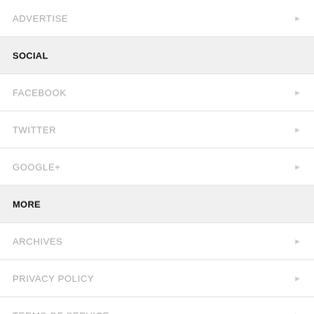ADVERTISE
SOCIAL
FACEBOOK
TWITTER
GOOGLE+
MORE
ARCHIVES
PRIVACY POLICY
TERMS OF SERVICE
TERMS OF PURCHASE
WORK HERE
© 2013 THE NEW YORK TIMES COMPANY